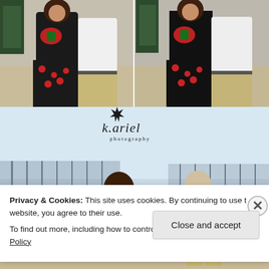[Figure (photo): Two side-by-side photos of a couple at the beach. Woman with curly hair in a black floral dress holding a red and green item (Christmas wreath or toy), man in white shirt and khaki pants. Beach/sand background with a Christmas tree visible.]
[Figure (photo): Beach photo with k.ariel photography watermark/logo. A couple walking on the beach near a pier. Woman in black jacket with curly hair, man in white shirt. Warm sunset light. k.ariel photography logo overlaid.]
Privacy & Cookies: This site uses cookies. By continuing to use this website, you agree to their use.
To find out more, including how to control cookies, see here: Cookie Policy
Close and accept